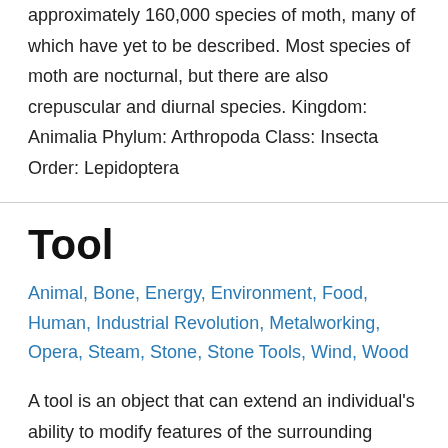vast majority of the order. There are thought to be approximately 160,000 species of moth, many of which have yet to be described. Most species of moth are nocturnal, but there are also crepuscular and diurnal species. Kingdom: Animalia Phylum: Arthropoda Class: Insecta Order: Lepidoptera
Tool
Animal, Bone, Energy, Environment, Food, Human, Industrial Revolution, Metalworking, Opera, Steam, Stone, Stone Tools, Wind, Wood
A tool is an object that can extend an individual's ability to modify features of the surrounding